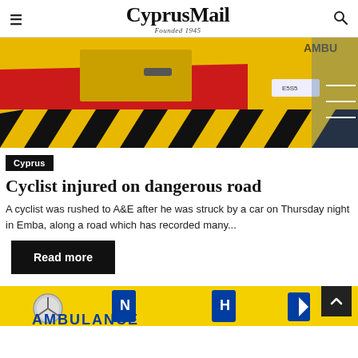CyprusMail — Founded 1945
[Figure (photo): Rear of yellow and red ambulance vehicle parked on blue asphalt, with 'AMBU' text visible in upper right corner]
Cyprus
Cyclist injured on dangerous road
A cyclist was rushed to A&E after he was struck by a car on Thursday night in Emba, along a road which has recorded many...
Read more
[Figure (photo): Front of yellow ambulance vehicle with Mercedes badge and blue 'AMBULANCE' text visible]